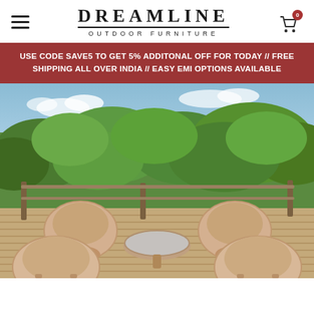DREAMLINE OUTDOOR FURNITURE
USE CODE SAVE5 TO GET 5% ADDITONAL OFF FOR TODAY // FREE SHIPPING ALL OVER INDIA // EASY EMI OPTIONS AVAILABLE
[Figure (photo): Outdoor deck with four beige wicker/rattan chairs surrounding a round glass-top table, overlooking a lush green landscape under a blue sky.]